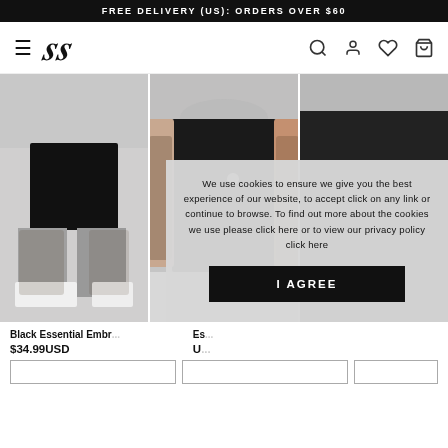FREE DELIVERY (US): ORDERS OVER $60
[Figure (screenshot): SikSilk brand logo — stylized interlocked SS letters in italic script]
[Figure (photo): Three product photos side by side: left shows a male model wearing black shorts with tattoos and white sneakers; center shows a tattooed male model in a black sleeveless tank top; right is partially visible showing a dark garment.]
We use cookies to ensure we give you the best experience of our website, to accept click on any link or continue to browse. To find out more about the cookies we use please click here or to view our privacy policy click here
I AGREE
Black Essential Embr...
$34.99USD
Es...
U...